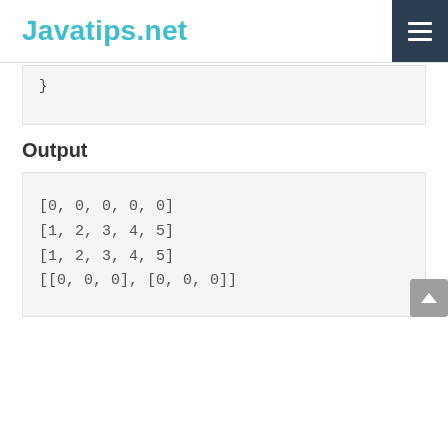Javatips.net
}
Output
[0, 0, 0, 0, 0]
[1, 2, 3, 4, 5]
[1, 2, 3, 4, 5]
[[0, 0, 0], [0, 0, 0]]